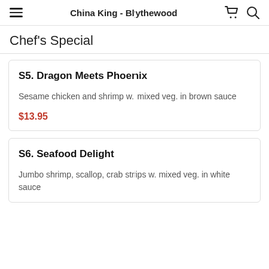China King - Blythewood
Chef's Special
S5. Dragon Meets Phoenix
Sesame chicken and shrimp w. mixed veg. in brown sauce
$13.95
S6. Seafood Delight
Jumbo shrimp, scallop, crab strips w. mixed veg. in white sauce